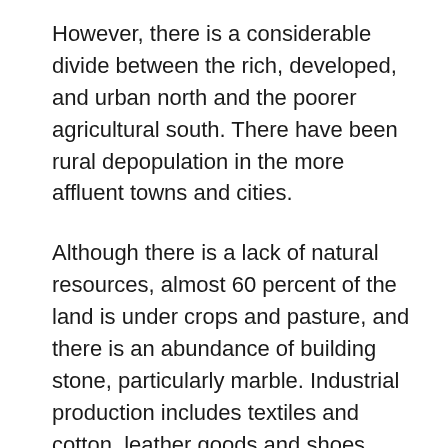However, there is a considerable divide between the rich, developed, and urban north and the poorer agricultural south. There have been rural depopulation in the more affluent towns and cities.
Although there is a lack of natural resources, almost 60 percent of the land is under crops and pasture, and there is an abundance of building stone, particularly marble. Industrial production includes textiles and cotton, leather goods and shoes, chemicals, foodstuffs, cars, and electrical goods.
Tourism is also an important contributor to